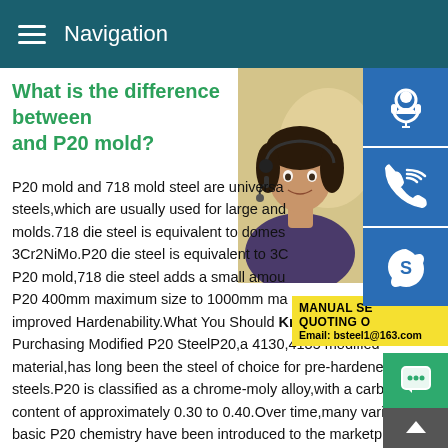Navigation
What is the difference between and P20 mold?
P20 mold and 718 mold steel are universal steels,which are usually used for large and molds.718 die steel is equivalent to domestic 3Cr2NiMo.P20 die steel is equivalent to 3C P20 mold,718 die steel adds a small amo P20 400mm maximum size to 1000mm m improved Hardenability.What You Should Purchasing Modified P20 SteelP20,a 4130,4135 modified material,has long been the steel of choice for pre-hardened mold steels.P20 is classified as a chrome-moly alloy,with a carbon content of approximately 0.30 to 0.40.Over time,many variations basic P20 chemistry have been introduced to the marketplace time Pros and cons of the top five materials for P20 .P20 is the
[Figure (photo): Customer service representative woman with headset, partial view on right side of page]
[Figure (infographic): Three blue icon buttons on right side: headset/customer service icon, phone icon, Skype icon]
[Figure (infographic): Yellow promotional box with text: MANUAL SE, QUOTING O, Email: bsteel1@163.com]
[Figure (infographic): Green chat button bottom right and dark scroll-to-top button]